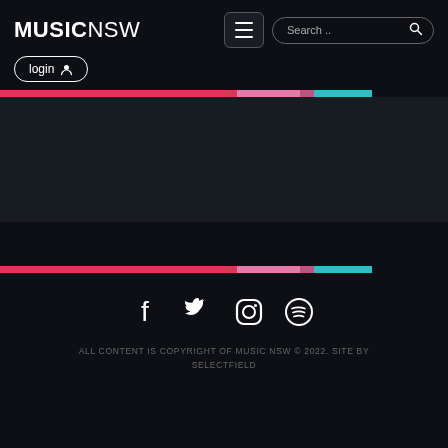MUSICNSW
login
[Figure (screenshot): Dark content panel below colored stripe bar]
[Figure (infographic): Social media icons: Facebook, Twitter, Instagram, Spotify]
ALL CONTENT IS COPYRIGHT OF MUSIC NSW © 2022. SITE BY SELECTFIELD